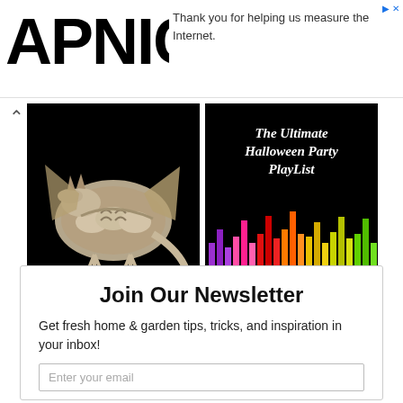APNIC
Thank you for helping us measure the Internet.
[Figure (photo): Skeleton dragon figurine on black background]
[Figure (infographic): The Ultimate Halloween Party Playlist title with colorful equalizer bars on black background]
Unique Halloween Decorations
The Ultimate Halloween Party Playlist
Join Our Newsletter
Get fresh home & garden tips, tricks, and inspiration in your inbox!
Enter your email